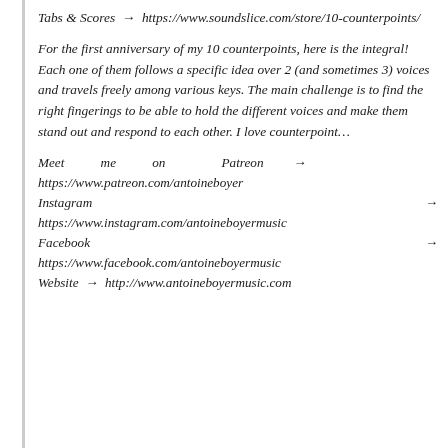Tabs & Scores → https://www.soundslice.com/store/10-counterpoints/
For the first anniversary of my 10 counterpoints, here is the integral! Each one of them follows a specific idea over 2 (and sometimes 3) voices and travels freely among various keys. The main challenge is to find the right fingerings to be able to hold the different voices and make them stand out and respond to each other. I love counterpoint…
Meet me on Patreon → https://www.patreon.com/antoineboyer
Instagram → https://www.instagram.com/antoineboyermusic
Facebook → https://www.facebook.com/antoineboyermusic
Website → http://www.antoineboyermusic.com